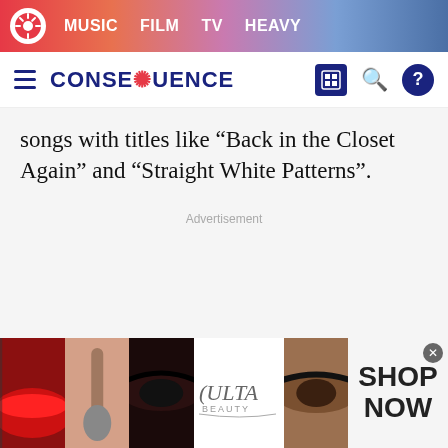MUSIC  FILM  TV  HEAVY
CONSEQUENCE
songs with titles like “Back in the Closet Again” and “Straight White Patterns”.
Advertisement
[Figure (photo): Bottom banner ad for Ulta Beauty showing close-up makeup photos (lips, brush, eyes) with Ulta logo and SHOP NOW call to action]